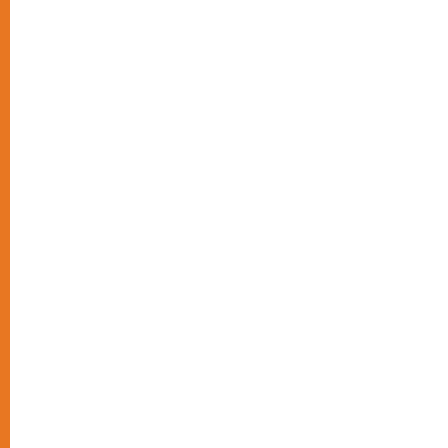| No. | Date | Title |
| --- | --- | --- |
| 61. |  | 2022. FOR … APPEAR / D… |
| 62. | 14/01/2022 | Postpone (B… Examination… |
| 63. | 14/01/2022 | Postponeme… |
| 64. | 13/01/2022 | Press Relea… commencing… |
| 65. | 13/01/2022 | Revised Sch… Examination… |
| 66. | 12/01/2022 | B.Ed/M.Ed S… |
| 67. | 31/12/2021 | Press releas… entrance tes… |
| 68. | 30/12/2021 | Press releas… entrance tes… |
| 69. | 22/12/2021 | Postponeme… December -… |
| 70. | 16/12/2021 | Postpone Pr… 2021 |
| 71. | 13/12/2021 | Postpone Pr… Semester) D… |
| 72. | 09/12/2021 | Schedule for… December… |